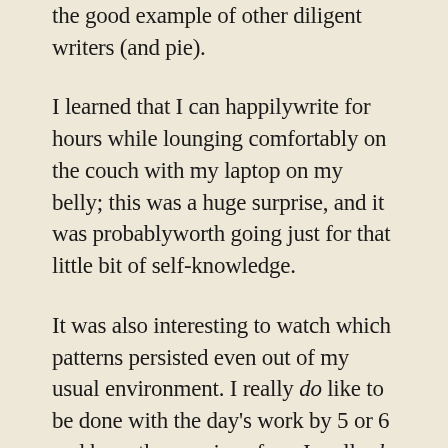the good example of other diligent writers (and pie).
I learned that I can happilywrite for hours while lounging comfortably on the couch with my laptop on my belly; this was a huge surprise, and it was probablyworth going just for that little bit of self-knowledge.
It was also interesting to watch which patterns persisted even out of my usual environment. I really do like to be done with the day's work by 5 or 6 and have the evenings free; I really do need a day off after a big word-count day; I really do need a good night's sleep if I'm going to be worth anything. I'd thought that these patterns